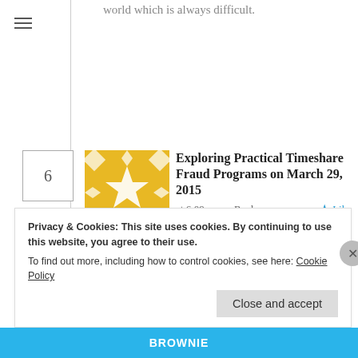world which is always difficult.
6
[Figure (illustration): Yellow decorative tile avatar with geometric star/diamond pattern in white on yellow background]
Exploring Practical Timeshare Fraud Programs on March 29, 2015 at 6:09 am  Reply  Like
What's up mates, fastidious post and pleasant arguments commented at this place, I am in fact enjoying by these.
Privacy & Cookies: This site uses cookies. By continuing to use this website, you agree to their use.
To find out more, including how to control cookies, see here: Cookie Policy
Close and accept